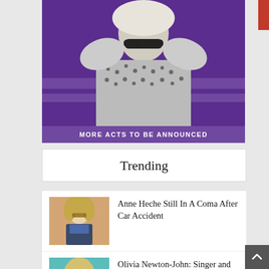[Figure (photo): A woman with platinum blonde hair wearing snakeskin-patterned gloves and sunglasses, posed against a purple background. A banner at the bottom reads 'MORE ACTS TO BE ANNOUNCED'.]
Trending
[Figure (photo): Thumbnail photo of Anne Heche, a blonde woman.]
Anne Heche Still In A Coma After Car Accident
[Figure (photo): Thumbnail photo of Olivia Newton-John.]
Olivia Newton-John: Singer and